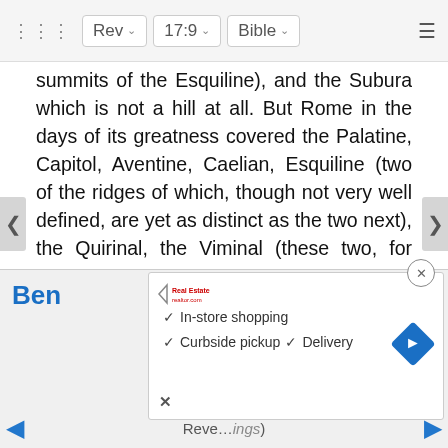Rev  17:9  Bible
summits of the Esquiline), and the Subura which is not a hill at all. But Rome in the days of its greatness covered the Palatine, Capitol, Aventine, Caelian, Esquiline (two of the ridges of which, though not very well defined, are yet as distinct as the two next), the Quirinal, the Viminal (these two, for some inexplicable reason, were never counted among the “seven mountains,” though higher than any of them, but were always called “hills”), and the Janiculum and Vatican on the other side of the Tiber. In modern Rome, the buildings have spread over the Pincian Hill, but the Caelian, Palatine, Aventine, and much of the Esquiline are nearly uninhabited.
[Figure (screenshot): Advertisement overlay showing in-store shopping, curbside pickup, and delivery options with a navigation arrow icon]